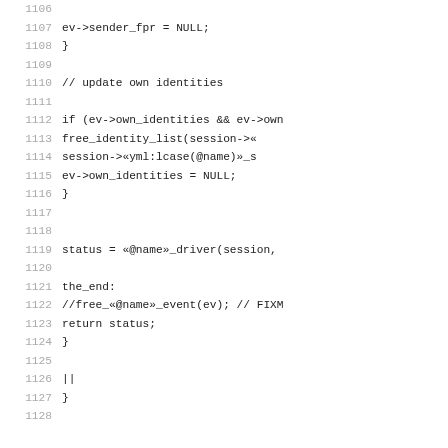Code listing lines 1106–1128 (C source code)
1106
1107    ev->sender_fpr = NULL;
1108        }
1109
1110        // update own identities
1111
1112        if (ev->own_identities && ev->own
1113            free_identity_list(session->
1114            session->«yml:lcase(@name)»_s
1115            ev->own_identities = NULL;
1116        }
1117
1118
1119        status = «@name»_driver(session,
1120
1121    the_end:
1122        //free_«@name»_event(ev); // FIXM
1123        return status;
1124    }
1125
1126        ||
1127    }
1128